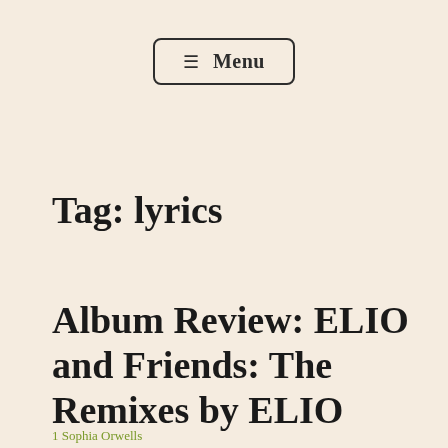☰ Menu
Tag: lyrics
Album Review: ELIO and Friends: The Remixes by ELIO
1 Sophia Orwells